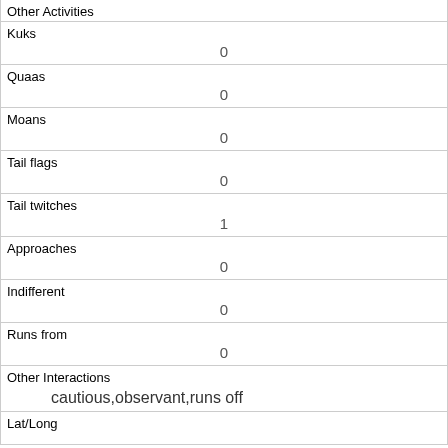| Other Activities |  |
| Kuks | 0 |
| Quaas | 0 |
| Moans | 0 |
| Tail flags | 0 |
| Tail twitches | 1 |
| Approaches | 0 |
| Indifferent | 0 |
| Runs from | 0 |
| Other Interactions | cautious,observant,runs off |
| Lat/Long |  |